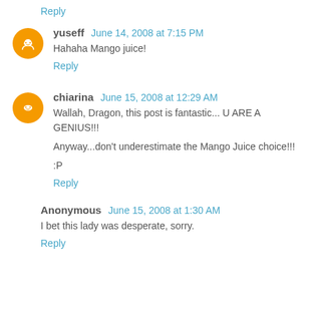Reply
yuseff  June 14, 2008 at 7:15 PM
Hahaha Mango juice!
Reply
chiarina  June 15, 2008 at 12:29 AM
Wallah, Dragon, this post is fantastic... U ARE A GENIUS!!!
Anyway...don't underestimate the Mango Juice choice!!!
:P
Reply
Anonymous  June 15, 2008 at 1:30 AM
I bet this lady was desperate, sorry.
Reply